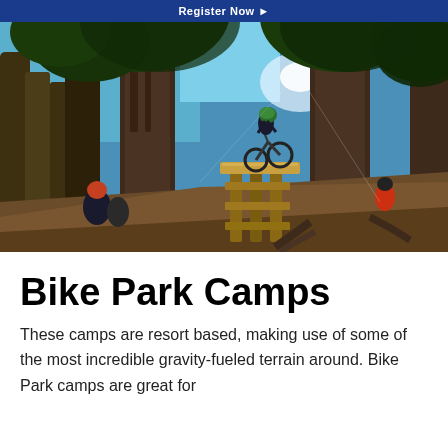Register Now
[Figure (photo): Mountain biker launching off a wooden drop feature surrounded by tall pine trees in a bike park, with another rider visible in the background on the right. Two observers watch from the left foreground.]
Bike Park Camps
These camps are resort based, making use of some of the most incredible gravity-fueled terrain around. Bike Park camps are great for